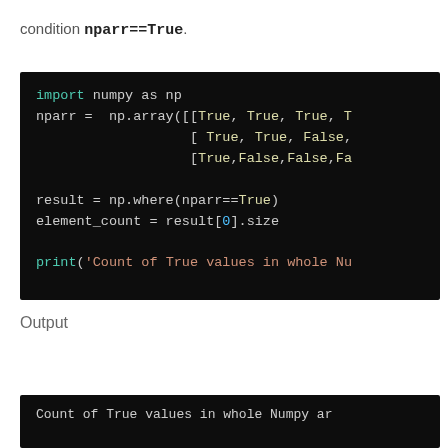condition nparr==True.
[Figure (screenshot): Code block on dark background showing Python code: import numpy as np, nparr = np.array([[True, True, True, ...], [ True, True, False,...], [True,False,False,Fa...]), result = np.where(nparr==True), element_count = result[0].size, print('Count of True values in whole Nu...]
Output
[Figure (screenshot): Output block on dark background showing: Count of True values in whole Numpy ar...]